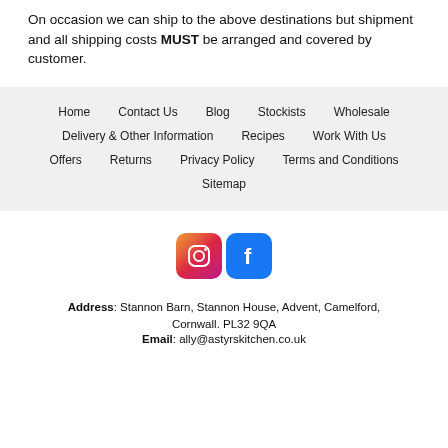On occasion we can ship to the above destinations but shipment and all shipping costs MUST be arranged and covered by customer.
Home
Contact Us
Blog
Stockists
Wholesale
Delivery & Other Information
Recipes
Work With Us
Offers
Returns
Privacy Policy
Terms and Conditions
Sitemap
[Figure (logo): Instagram and Facebook social media icons]
Address: Stannon Barn, Stannon House, Advent, Camelford, Cornwall. PL32 9QA
Email: ally@astyrskitchen.co.uk